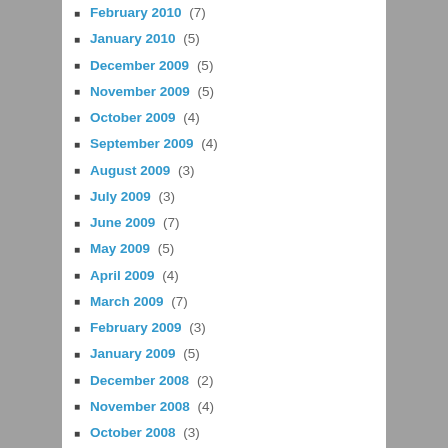February 2010 (7)
January 2010 (5)
December 2009 (5)
November 2009 (5)
October 2009 (4)
September 2009 (4)
August 2009 (3)
July 2009 (3)
June 2009 (7)
May 2009 (5)
April 2009 (4)
March 2009 (7)
February 2009 (3)
January 2009 (5)
December 2008 (2)
November 2008 (4)
October 2008 (3)
CATEGORIES
Altec Lansing (3)
Android (54)